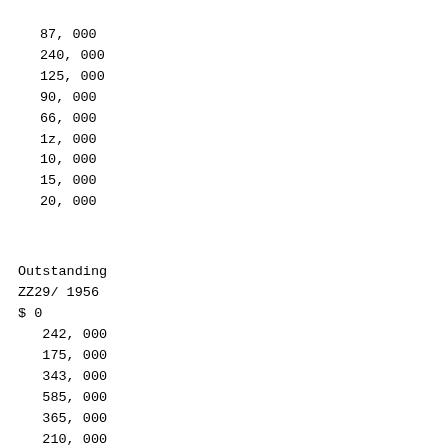87, 000
240, 000
125, 000
90, 000
66, 000
1z, 000
10, 000
15, 000
20, 000
Outstanding
ZZ29/ 1956
$ 0
   242, 000
   175, 000
   343, 000
   585, 000
   365, 000
   210, 000
   159, 000
    62, 500
    66, 000
   695, 000
1,235, 000
   722, 000

2, 800, 00